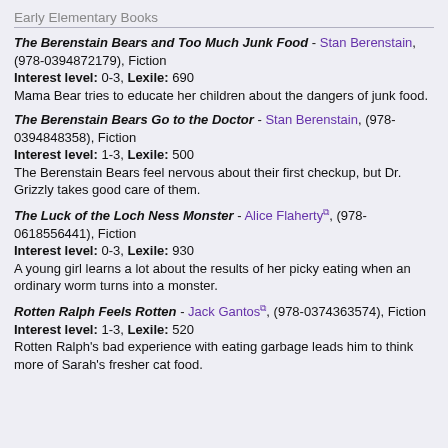Early Elementary Books
The Berenstain Bears and Too Much Junk Food - Stan Berenstain, (978-0394872179), Fiction
Interest level: 0-3, Lexile: 690
Mama Bear tries to educate her children about the dangers of junk food.
The Berenstain Bears Go to the Doctor - Stan Berenstain, (978-0394848358), Fiction
Interest level: 1-3, Lexile: 500
The Berenstain Bears feel nervous about their first checkup, but Dr. Grizzly takes good care of them.
The Luck of the Loch Ness Monster - Alice Flaherty, (978-0618556441), Fiction
Interest level: 0-3, Lexile: 930
A young girl learns a lot about the results of her picky eating when an ordinary worm turns into a monster.
Rotten Ralph Feels Rotten - Jack Gantos, (978-0374363574), Fiction
Interest level: 1-3, Lexile: 520
Rotten Ralph's bad experience with eating garbage leads him to think more of Sarah's fresher cat food.